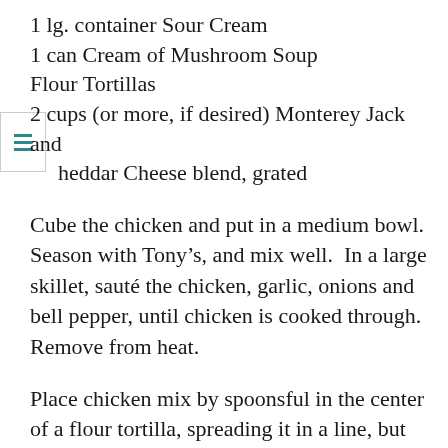1 lg. container Sour Cream
1 can Cream of Mushroom Soup
Flour Tortillas
2 cups (or more, if desired) Monterey Jack and Cheddar Cheese blend, grated
Cube the chicken and put in a medium bowl. Season with Tony’s, and mix well.  In a large skillet, sauté the chicken, garlic, onions and bell pepper, until chicken is cooked through. Remove from heat.
Place chicken mix by spoonsful in the center of a flour tortilla, spreading it in a line, but stopping short of the ends. Roll up and place in a greased casserole dish, seam side down.